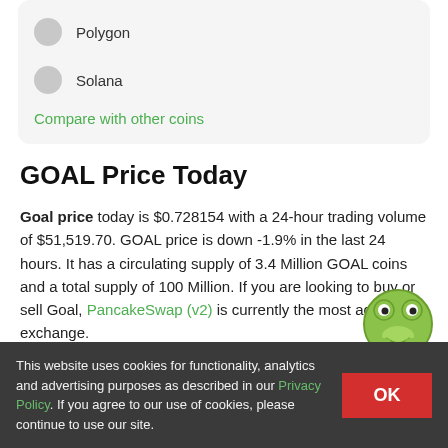Polygon
Solana
Compare with other coins
GOAL Price Today
Goal price today is $0.728154 with a 24-hour trading volume of $51,519.70. GOAL price is down -1.9% in the last 24 hours. It has a circulating supply of 3.4 Million GOAL coins and a total supply of 100 Million. If you are looking to buy or sell Goal, PancakeSwap (v2) is currently the most active exchange.
What was the highest price for Goal?
This website uses cookies for functionality, analytics and advertising purposes as described in our Privacy Policy. If you agree to our use of cookies, please continue to use our site.